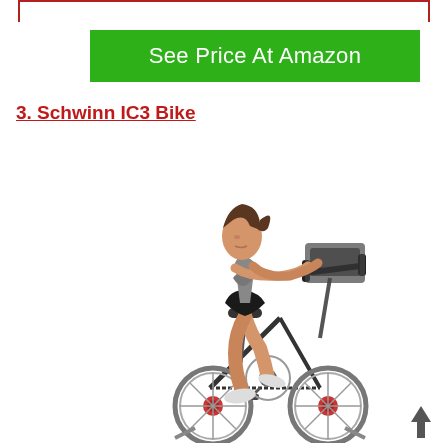[Figure (other): Red border partial rectangle at top of page]
See Price At Amazon
3. Schwinn IC3 Bike
[Figure (photo): Woman riding a Schwinn IC3 indoor cycling/spinning exercise bike on white background]
[Figure (other): Upward pointing arrow icon at bottom right]